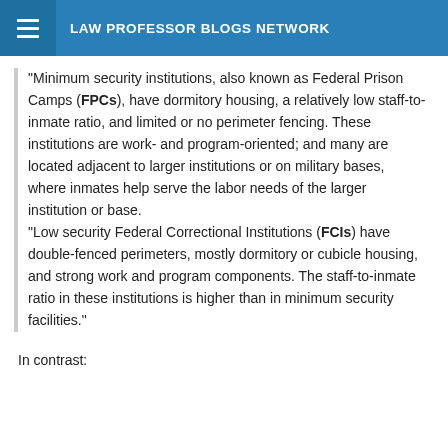LAW PROFESSOR BLOGS NETWORK
"Minimum security institutions, also known as Federal Prison Camps (FPCs), have dormitory housing, a relatively low staff-to-inmate ratio, and limited or no perimeter fencing. These institutions are work- and program-oriented; and many are located adjacent to larger institutions or on military bases, where inmates help serve the labor needs of the larger institution or base. "Low security Federal Correctional Institutions (FCIs) have double-fenced perimeters, mostly dormitory or cubicle housing, and strong work and program components. The staff-to-inmate ratio in these institutions is higher than in minimum security facilities."
In contrast: